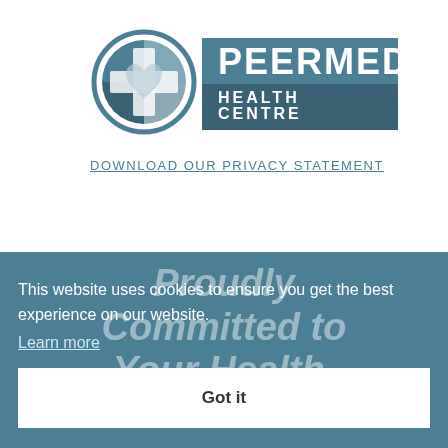[Figure (logo): Peermed Health Centre logo with circular emblem containing a cross and heart shape in teal/grey tones, alongside the text PEERMED HEALTH CENTRE on a teal background]
DOWNLOAD OUR PRIVACY STATEMENT
[Figure (screenshot): Cookie consent overlay on teal background with text 'This website uses cookies to ensure you get the best experience on our website.' and a Learn more link and Got it button. Background shows italic text 'Proudly Committed to Your Health.' in lighter teal. Below is CONTACT DETAILS section with phone number Kempton: 011 394 8751]